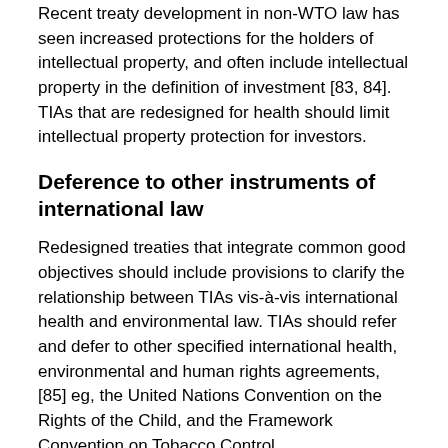Recent treaty development in non-WTO law has seen increased protections for the holders of intellectual property, and often include intellectual property in the definition of investment [83, 84]. TIAs that are redesigned for health should limit intellectual property protection for investors.
Deference to other instruments of international law
Redesigned treaties that integrate common good objectives should include provisions to clarify the relationship between TIAs vis-à-vis international health and environmental law. TIAs should refer and defer to other specified international health, environmental and human rights agreements, [85] eg, the United Nations Convention on the Rights of the Child, and the Framework Convention on Tobacco Control.
Section 3: Treaty development processes
Treaty law does not come into the world of its own accord. The processes by which TIAs are developed should be improved to